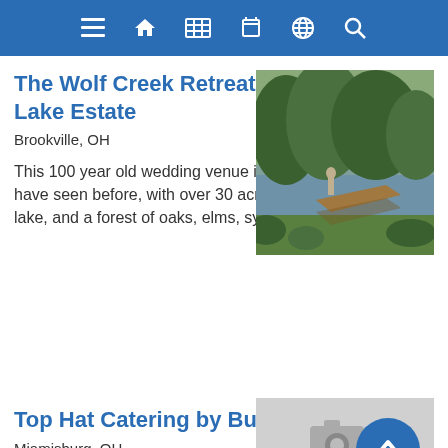Navigation bar with menu, home, grid, calendar, globe, search icons
The Wolf Creek Retreat at Elm Lake Estate
Brookville, OH
[Figure (photo): Outdoor lake scene with wooden dock/platform and green trees and shrubs in background]
This 100 year old wedding venue is unlike anything you have seen before, with over 30 acres of property, a 4 acre lake, and a forest of oaks, elms, sycamore, and pine trees.
Top Hat Catering by Bullwinkle's
Miamisburg, OH
[Figure (photo): Placeholder image with camera icon for Top Hat Catering listing]